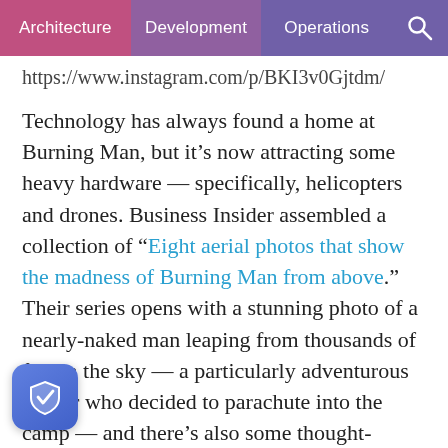Architecture | Development | Operations
https://www.instagram.com/p/BKI3v0Gjtdm/
Technology has always found a home at Burning Man, but it’s now attracting some heavy hardware — specifically, helicopters and drones. Business Insider assembled a collection of “Eight aerial photos that show the madness of Burning Man from above.” Their series opens with a stunning photo of a nearly-naked man leaping from thousands of feet in the sky — a particularly adventurous burner who decided to parachute into the camp — and there’s also some thought-provoking aerial shots of the clustered cars and camper trailers. The series ends a reminder that last year’s festival was